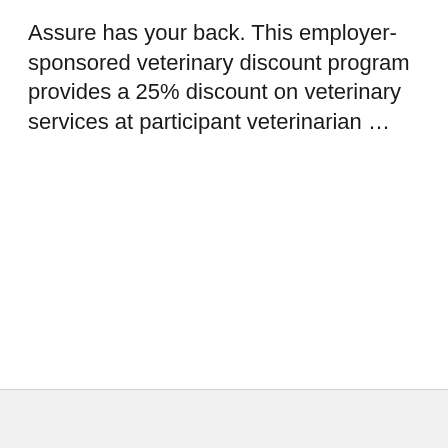Assure has your back. This employer-sponsored veterinary discount program provides a 25% discount on veterinary services at participant veterinarian …
[Continue Reading...]